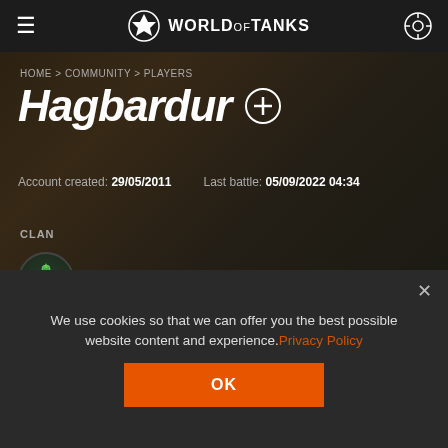WORLD OF TANKS
HOME > COMMUNITY > PLAYERS
Hagbardur
Account created: 29/05/2011   Last battle: 05/09/2022 04:34
CLAN
[SKIL1] Baboons empire
We use cookies so that we can offer you the best possible website content and experience. Privacy Policy
OK